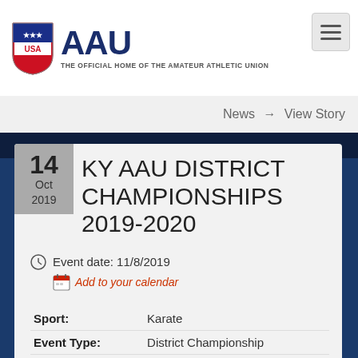AAU — THE OFFICIAL HOME OF THE AMATEUR ATHLETIC UNION
KY AAU DISTRICT CHAMPIONSHIPS 2019-2020
14 Oct 2019
News → View Story
Event date: 11/8/2019
Add to your calendar
| Field | Value |
| --- | --- |
| Sport: | Karate |
| Event Type: | District Championship |
| Date(s): | Nov 9, 2019 |